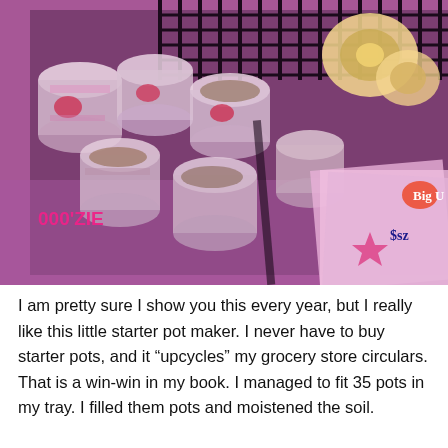[Figure (photo): Overhead photo of DIY starter pots made from rolled newspaper/grocery circulars arranged in a dark tray, with tape rolls visible in the top right corner and stacked grocery store circulars visible on the right side. The scene is lit with a pink/purple hue.]
I am pretty sure I show you this every year, but I really like this little starter pot maker. I never have to buy starter pots, and it “upcycles” my grocery store circulars. That is a win-win in my book. I managed to fit 35 pots in my tray. I filled them pots and moistened the soil.